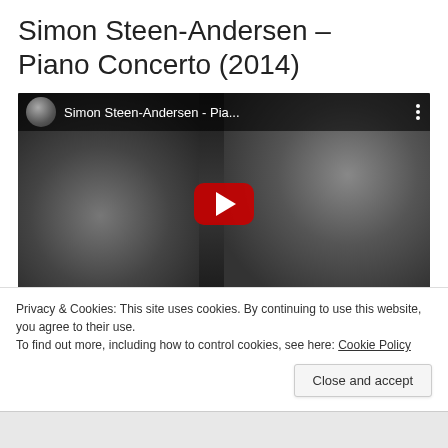Simon Steen-Andersen – Piano Concerto (2014)
[Figure (screenshot): YouTube video embed showing Simon Steen-Andersen - Pia... with a black and white thumbnail of a person and a red play button]
Privacy & Cookies: This site uses cookies. By continuing to use this website, you agree to their use.
To find out more, including how to control cookies, see here: Cookie Policy
Close and accept